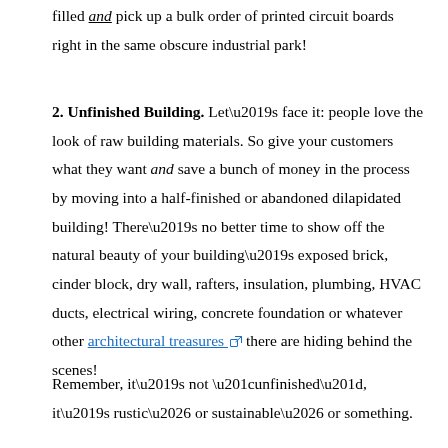filled and pick up a bulk order of printed circuit boards right in the same obscure industrial park!
2. Unfinished Building.
Let’s face it: people love the look of raw building materials. So give your customers what they want and save a bunch of money in the process by moving into a half-finished or abandoned dilapidated building! There’s no better time to show off the natural beauty of your building’s exposed brick, cinder block, dry wall, rafters, insulation, plumbing, HVAC ducts, electrical wiring, concrete foundation or whatever other architectural treasures there are hiding behind the scenes!
Remember, it’s not “unfinished”, it’s rustic… or sustainable… or something.